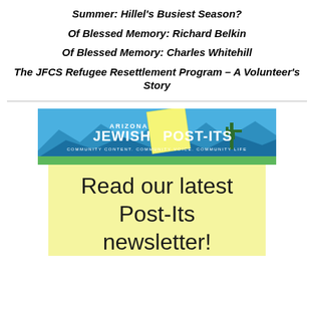Summer: Hillel's Busiest Season?
Of Blessed Memory: Richard Belkin
Of Blessed Memory: Charles Whitehill
The JFCS Refugee Resettlement Program – A Volunteer's Story
[Figure (logo): Arizona Jewish Post-Its logo banner with mountain silhouette, yellow sticky note, cactus, blue sky, and green grass. Tagline: COMMUNITY CONTENT. COMMUNITY VOICE. COMMUNITY LIFE]
Read our latest Post-Its newsletter!